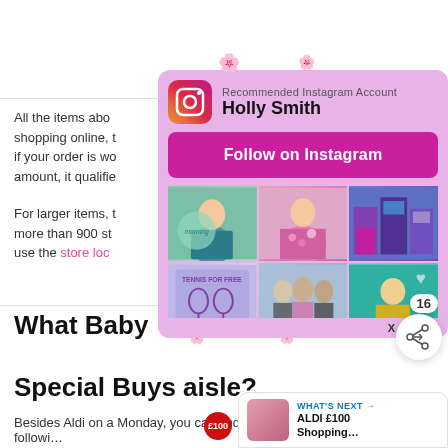All the items above are available for shopping online, they offer free delivery if your order is worth the minimum amount, it qualifies for free delivery.
For larger items, they have a network of more than 900 store locations, you can use the store loc…
[Figure (screenshot): Instagram popup overlay recommending 'Holly Smith' account with a 'Follow on Instagram' button and a 6-image photo grid, on a lavender/pink background]
What Baby Brands are in the Aldi Special Buys aisle?
Besides Aldi on a Monday, you can find the followi…